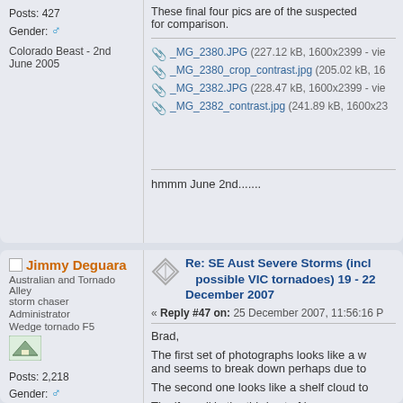Posts: 427
Gender: [male symbol]
Colorado Beast - 2nd June 2005
These final four pics are of the suspected... for comparison.
_MG_2380.JPG (227.12 kB, 1600x2399 - vie...
_MG_2380_crop_contrast.jpg (205.02 kB, 16...
_MG_2382.JPG (228.47 kB, 1600x2399 - vie...
_MG_2382_contrast.jpg (241.89 kB, 1600x23...
hmmm June 2nd.......
Jimmy Deguara
Australian and Tornado Alley storm chaser
Administrator
Wedge tornado F5
Posts: 2,218
Gender: [male symbol]
Storm Chaser since 1993, Tornado Alley 2001
Re: SE Aust Severe Storms (incl possible VIC tornadoes) 19 - 22 December 2007
« Reply #47 on: 25 December 2007, 11:56:16 P
Brad,
The first set of photographs looks like a w... and seems to break down perhaps due to...
The second one looks like a shelf cloud to...
The 'funnel' in the third set of images are...